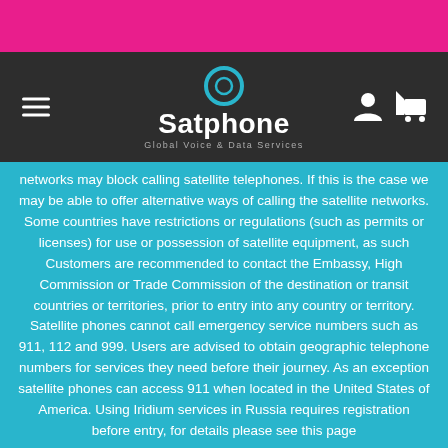Satphone — Global Voice & Data Services
networks may block calling satellite telephones. If this is the case we may be able to offer alternative ways of calling the satellite networks. Some countries have restrictions or regulations (such as permits or licenses) for use or possession of satellite equipment, as such Customers are recommended to contact the Embassy, High Commission or Trade Commission of the destination or transit countries or territories, prior to entry into any country or territory. Satellite phones cannot call emergency service numbers such as 911, 112 and 999. Users are advised to obtain geographic telephone numbers for services they need before their journey. As an exception satellite phones can access 911 when located in the United States of America. Using Iridium services in Russia requires registration before entry, for details please see this page
Inmarsat Services are no longer available in India